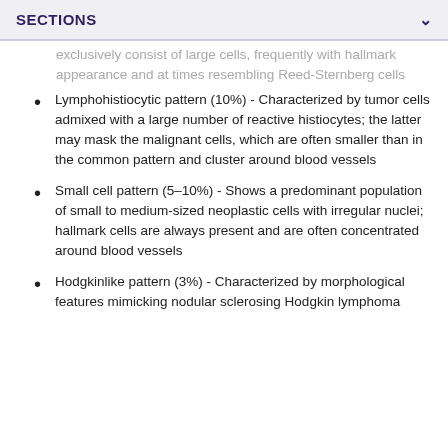SECTIONS
exclusively consist of large cells, frequently with hallmark appearance and at times resembling Reed-Sternberg cells
Lymphohistiocytic pattern (10%) - Characterized by tumor cells admixed with a large number of reactive histiocytes; the latter may mask the malignant cells, which are often smaller than in the common pattern and cluster around blood vessels
Small cell pattern (5–10%) - Shows a predominant population of small to medium-sized neoplastic cells with irregular nuclei; hallmark cells are always present and are often concentrated around blood vessels
Hodgkinlike pattern (3%) - Characterized by morphological features mimicking nodular sclerosing Hodgkin lymphoma